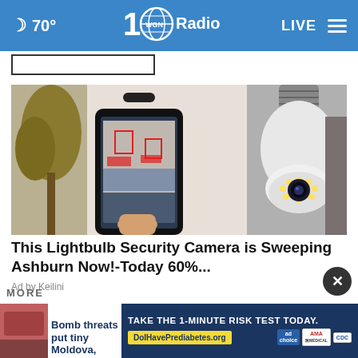70° WGN Radio LIVE
[Figure (photo): Lightbulb security camera product photo alongside a smartphone showing camera feed]
This Lightbulb Security Camera is Sweeping Ashburn Now!-Today 60%...
Ad by Keilini
MORE
Bomb threats put tiny Moldova,
TAKE THE 1-MINUTE RISK TEST TODAY. DoIHavePrediabetes.org